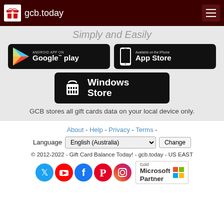gcb.today
Simply and Easily
[Figure (screenshot): Google Play store badge - Android App on Google play]
[Figure (screenshot): App Store badge - Available on the iPhone App Store]
[Figure (screenshot): Windows Store badge]
GCB stores all gift cards data on your local device only.
About - Help - Privacy - Terms -
Language English (Australia) Change
© 2012-2022 - Gift Card Balance Today! - gcb.today - US EAST
[Figure (logo): Social media icons: Twitter, YouTube, Facebook, Pinterest, Instagram, and Gold Microsoft Partner badge]